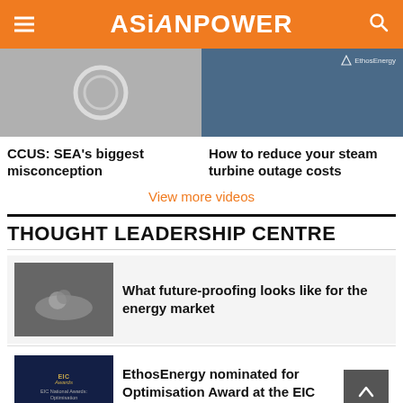ASIANPOWER
[Figure (photo): Two thumbnail images side by side: left shows a circular device/logo on grey background, right shows a person in a blue EthosEnergy shirt in an industrial setting]
CCUS: SEA's biggest misconception
How to reduce your steam turbine outage costs
View more videos
THOUGHT LEADERSHIP CENTRE
[Figure (photo): Industrial machinery close-up with a worker, dark tones]
What future-proofing looks like for the energy market
[Figure (photo): EIC National Awards: Optimisation award graphic with EthosEnergy branding on dark blue background]
EthosEnergy nominated for Optimisation Award at the EIC Awards 2022